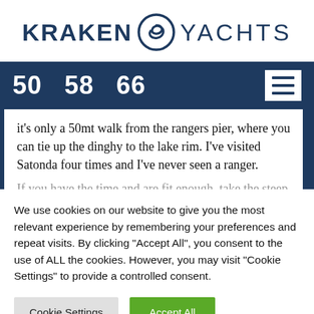[Figure (logo): Kraken Yachts logo with spiral icon between the two words]
50   58   66
it's only a 50mt walk from the rangers pier, where you can tie up the dinghy to the lake rim. I've visited Satonda four times and I've never seen a ranger.
If you have the time and are fit enough, take the steep
We use cookies on our website to give you the most relevant experience by remembering your preferences and repeat visits. By clicking "Accept All", you consent to the use of ALL the cookies. However, you may visit "Cookie Settings" to provide a controlled consent.